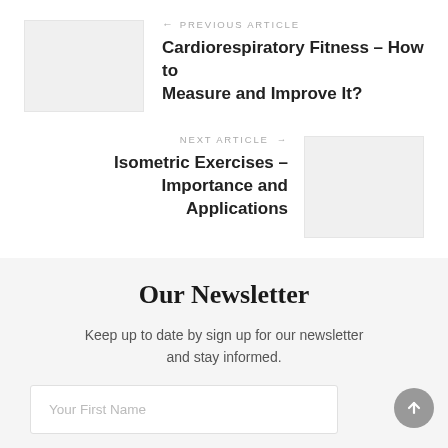← PREVIOUS ARTICLE
Cardiorespiratory Fitness – How to Measure and Improve It?
NEXT ARTICLE →
Isometric Exercises – Importance and Applications
Our Newsletter
Keep up to date by sign up for our newsletter and stay informed.
Your First Name